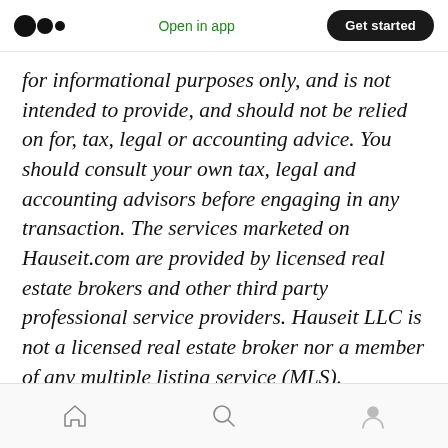Open in app | Get started
for informational purposes only, and is not intended to provide, and should not be relied on for, tax, legal or accounting advice. You should consult your own tax, legal and accounting advisors before engaging in any transaction. The services marketed on Hauseit.com are provided by licensed real estate brokers and other third party professional service providers. Hauseit LLC is not a licensed real estate broker nor a member of any multiple listing service (MLS).
Home | Search | Profile